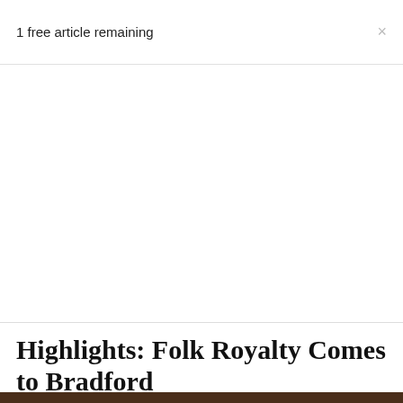1 free article remaining
Highlights: Folk Royalty Comes to Bradford